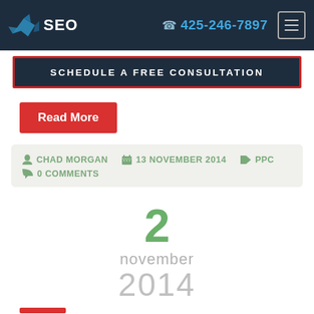SEO  📞 425-246-7897
SCHEDULE A FREE CONSULTATION
Read More
CHAD MORGAN  13 NOVEMBER 2014  PPC  0 COMMENTS
2
november
2014